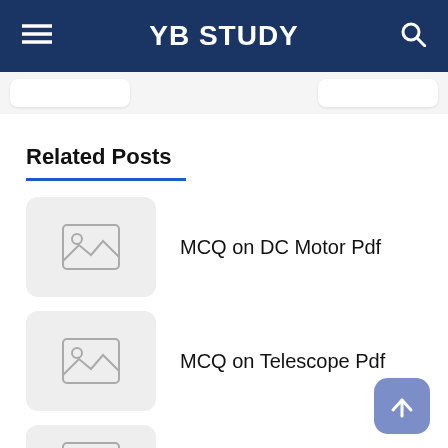YB STUDY
Related Posts
MCQ on DC Motor Pdf
MCQ on Telescope Pdf
MCQ on Universe Pdf